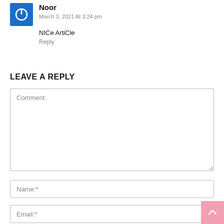[Figure (illustration): Blue square avatar with white power button icon]
Noor
March 3, 2021 At 3:24 pm
NICe ArtiCle
Reply
LEAVE A REPLY
Comment:
Name:*
Email:*